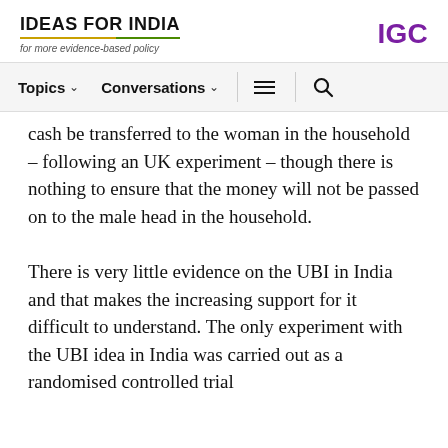IDEAS FOR INDIA | for more evidence-based policy | IGC
cash be transferred to the woman in the household – following an UK experiment – though there is nothing to ensure that the money will not be passed on to the male head in the household.
There is very little evidence on the UBI in India and that makes the increasing support for it difficult to understand. The only experiment with the UBI idea in India was carried out as a randomised controlled trial